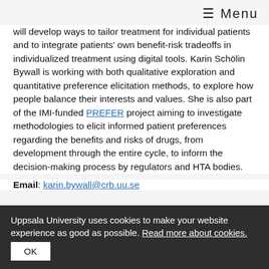≡ Menu
will develop ways to tailor treatment for individual patients and to integrate patients' own benefit-risk tradeoffs in individualized treatment using digital tools. Karin Schölin Bywall is working with both qualitative exploration and quantitative preference elicitation methods, to explore how people balance their interests and values. She is also part of the IMI-funded PREFER project aiming to investigate methodologies to elicit informed patient preferences regarding the benefits and risks of drugs, from development through the entire cycle, to inform the decision-making process by regulators and HTA bodies.
Email: karin.bywall@crb.uu.se
Uppsala University uses cookies to make your website experience as good as possible. Read more about cookies. OK